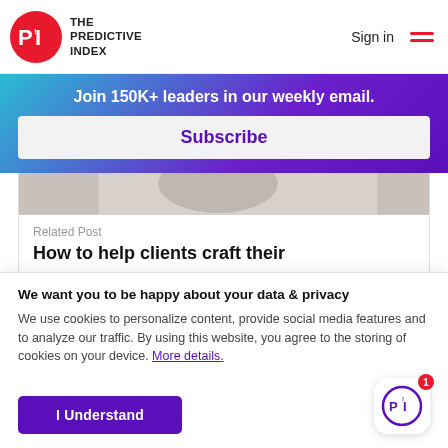[Figure (logo): The Predictive Index logo with red circle PI icon and text THE PREDICTIVE INDEX]
Sign in
[Figure (illustration): Hamburger menu icon with two red lines]
Join 150K+ leaders in our weekly email.
Subscribe
[Figure (photo): Partial photo of a person in a light-colored outfit]
Related Post
How to help clients craft their
We want you to be happy about your data & privacy
We use cookies to personalize content, provide social media features and to analyze our traffic. By using this website, you agree to the storing of cookies on your device. More details.
I Understand